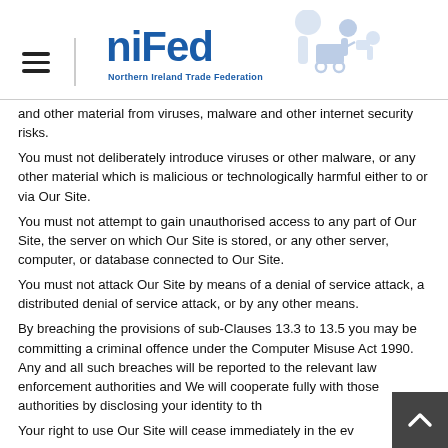niFed Northern Ireland Trade Federation
and other material from viruses, malware and other internet security risks.
You must not deliberately introduce viruses or other malware, or any other material which is malicious or technologically harmful either to or via Our Site.
You must not attempt to gain unauthorised access to any part of Our Site, the server on which Our Site is stored, or any other server, computer, or database connected to Our Site.
You must not attack Our Site by means of a denial of service attack, a distributed denial of service attack, or by any other means.
By breaching the provisions of sub-Clauses 13.3 to 13.5 you may be committing a criminal offence under the Computer Misuse Act 1990. Any and all such breaches will be reported to the relevant law enforcement authorities and We will cooperate fully with those authorities by disclosing your identity to th…
Your right to use Our Site will cease immediately in the ev…